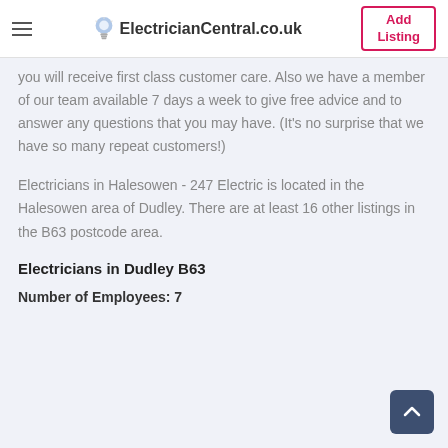ElectricianCentral.co.uk | Add Listing
you will receive first class customer care. Also we have a member of our team available 7 days a week to give free advice and to answer any questions that you may have. (It's no surprise that we have so many repeat customers!)
Electricians in Halesowen - 247 Electric is located in the Halesowen area of Dudley. There are at least 16 other listings in the B63 postcode area.
Electricians in Dudley B63
Number of Employees: 7